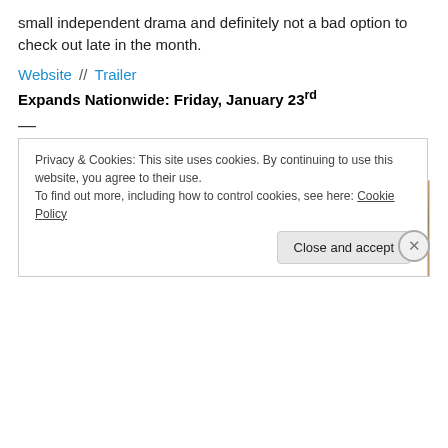small independent drama and definitely not a bad option to check out late in the month.
Website // Trailer
Expands Nationwide: Friday, January 23rd
—
American Sniper
[Figure (photo): Movie still or promotional image, appears to show a person in a wooden/industrial setting]
Privacy & Cookies: This site uses cookies. By continuing to use this website, you agree to their use.
To find out more, including how to control cookies, see here: Cookie Policy
Close and accept